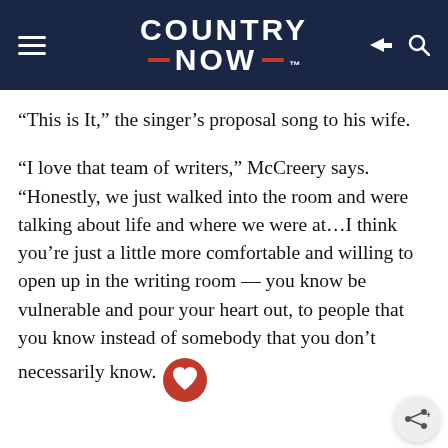COUNTRY NOW
“This is It,” the singer’s proposal song to his wife.
“I love that team of writers,” McCreery says. “Honestly, we just walked into the room and were talking about life and where we were at…I think you’re just a little more comfortable and willing to open up in the writing room — you know be vulnerable and pour your heart out, to people that you know instead of somebody that you don’t necessarily know.